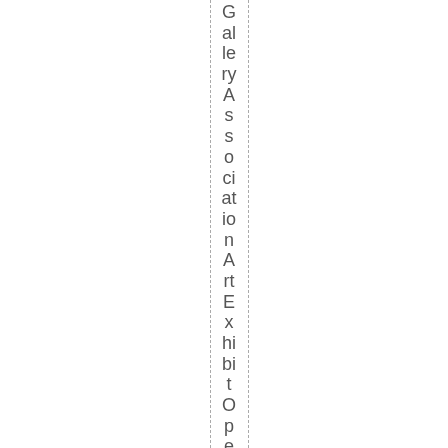Gallery Association Art Exhibit Opening